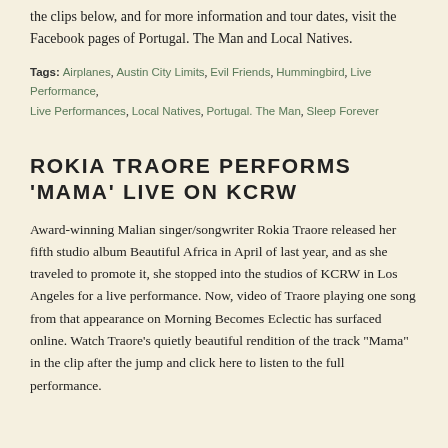the clips below, and for more information and tour dates, visit the Facebook pages of Portugal. The Man and Local Natives.
Tags: Airplanes, Austin City Limits, Evil Friends, Hummingbird, Live Performance, Live Performances, Local Natives, Portugal. The Man, Sleep Forever
ROKIA TRAORE PERFORMS 'MAMA' LIVE ON KCRW
Award-winning Malian singer/songwriter Rokia Traore released her fifth studio album Beautiful Africa in April of last year, and as she traveled to promote it, she stopped into the studios of KCRW in Los Angeles for a live performance. Now, video of Traore playing one song from that appearance on Morning Becomes Eclectic has surfaced online. Watch Traore’s quietly beautiful rendition of the track “Mama” in the clip after the jump and click here to listen to the full performance.